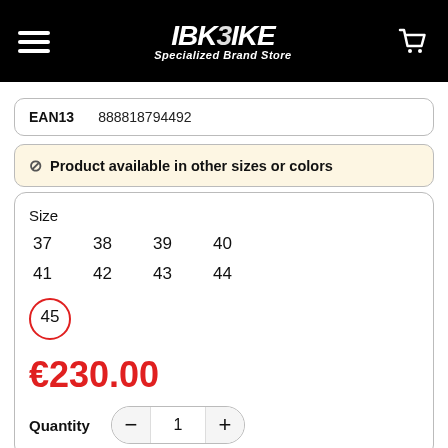[Figure (logo): IBKbike Specialized Brand Store logo on black header with hamburger menu and cart icon]
| EAN13 | 888818794492 |
| --- | --- |
⊘ Product available in other sizes or colors
Size
37  38  39  40  41  42  43  44  45 (selected, circled)
€230.00
Quantity  −  1  +